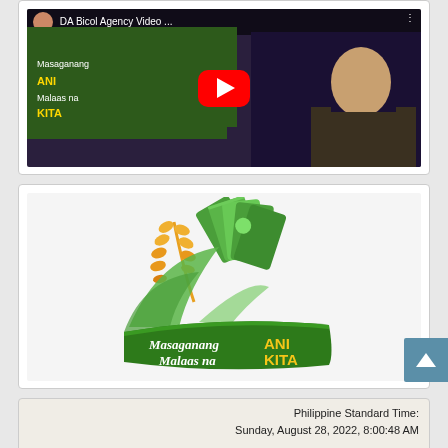[Figure (screenshot): YouTube video thumbnail showing 'DA Bicol Agency Video...' with a person on a green/purple background and YouTube play button]
[Figure (logo): Masaganang ANI Malaas na KITA logo — wheat stalks and money fan on green banner]
Philippine Standard Time:
Sunday, August 28, 2022, 8:00:48 AM